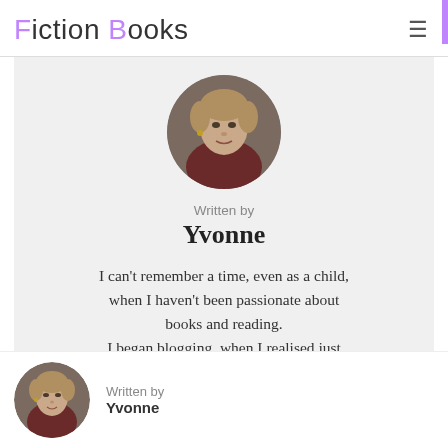Fiction Books
[Figure (photo): Circular portrait photo of Yvonne, a woman with short blonde hair wearing a red top]
Written by
Yvonne
I can't remember a time, even as a child, when I haven't been passionate about books and reading. I began blogging, when I realised just how many other people out there shared my passion for the written word and I
[Figure (photo): Small circular portrait photo of Yvonne in footer]
Written by
Yvonne